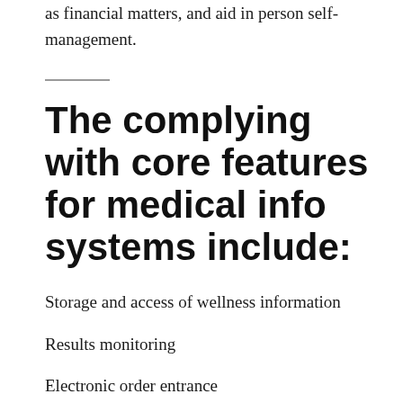as financial matters, and aid in person self-management.
The complying with core features for medical info systems include:
Storage and access of wellness information
Results monitoring
Electronic order entrance